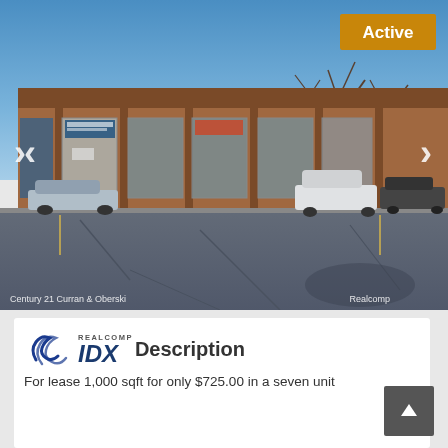[Figure (photo): Exterior photo of a strip commercial building with multiple storefronts, a parking lot in the foreground, bare trees to the right, blue sky. An 'Active' badge appears in the upper right. Navigation arrows on left and right. Photo credits: 'Century 21 Curran & Oberski' on bottom left and 'Realcomp' on bottom right.]
[Figure (logo): Realcomp IDX logo with blue swirl icon, 'REALCOMP' text above 'IDX' followed by 'Description' text]
For lease 1,000 sqft for only $725.00 in a seven unit